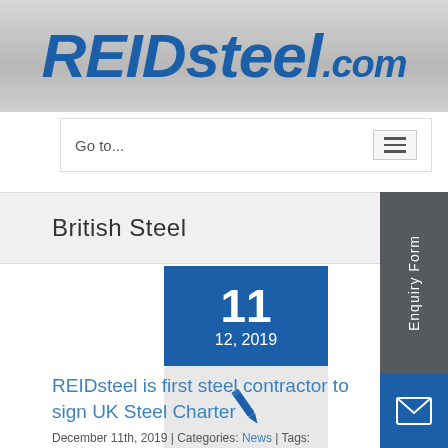REIDsteel.com
Go to...
British Steel
[Figure (other): Blue calendar date block showing day 11, month/year 12, 2019]
[Figure (other): Pen/edit icon on light gray background]
REIDsteel is first steel contractor to sign UK Steel Charter
December 11th, 2019 | Categories: News | Tags: British Steel, cladding, build, construction, contractor,